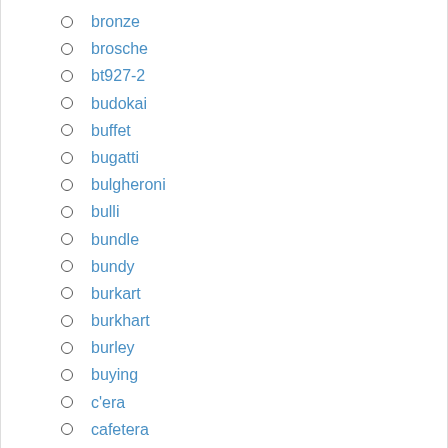bronze
brosche
bt927-2
budokai
buffet
bugatti
bulgheroni
bulli
bundle
bundy
burkart
burkhart
burley
buying
c'era
cafetera
caixa
caja
camco
camila